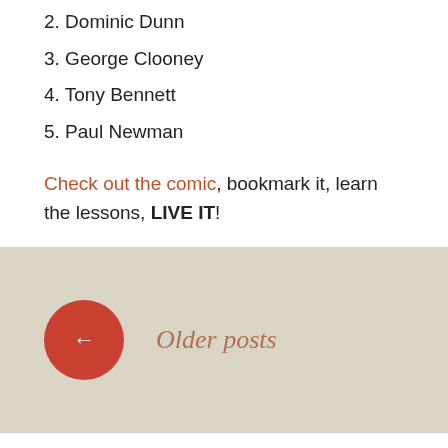2. Dominic Dunn
3. George Clooney
4. Tony Bennett
5. Paul Newman
Check out the comic, bookmark it, learn the lessons, LIVE IT!
[Figure (other): Navigation button: red circle with left arrow and 'Older posts' text on beige background]
Plumbing the depths of everyday minutia.